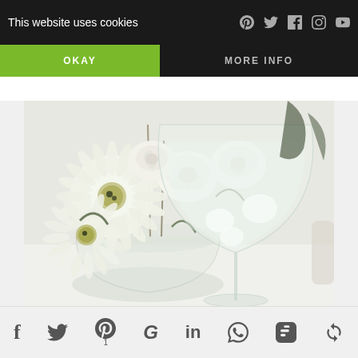This website uses cookies    p  y  f  [instagram]  [youtube]
OKAY    MORE INFO
[Figure (photo): A large wine glass filled with a white/clear drink, surrounded by white roses and white gerbera daisies in a glass vase, all arranged on a white surface with a soft dreamy aesthetic.]
f  [twitter]  p 1  G  in  [whatsapp]  [blogger]  [other social icon]